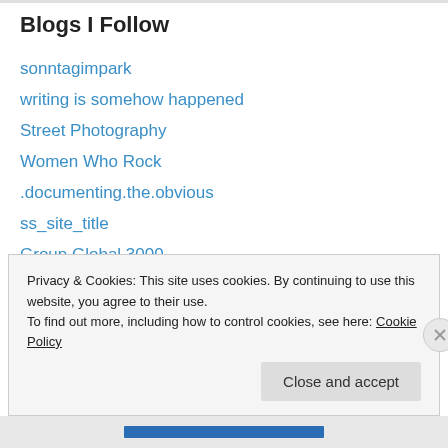Blogs I Follow
sonntagimpark
writing is somehow happened
Street Photography
Women Who Rock
.documenting.the.obvious
ss_site_title
Group Global 3000
Srđan Tunić
An Englishman in Berlin
marta's adventures in the big city
Privacy & Cookies: This site uses cookies. By continuing to use this website, you agree to their use.
To find out more, including how to control cookies, see here: Cookie Policy
Close and accept